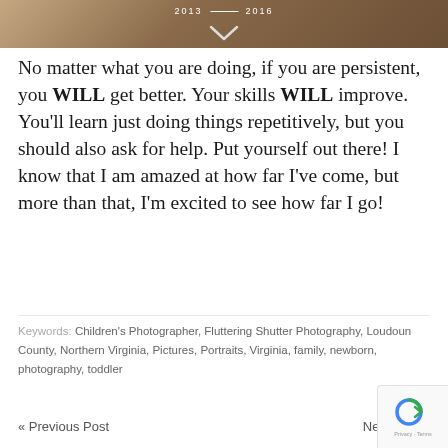[Figure (photo): Top portion of a photo showing a person in graduation attire with years 2013 and 2016 and a chevron/arrow overlay on a brownish background]
No matter what you are doing, if you are persistent, you WILL get better. Your skills WILL improve. You'll learn just doing things repetitively, but you should also ask for help. Put yourself out there! I know that I am amazed at how far I've come, but more than that, I'm excited to see how far I go!
Keywords: Children's Photographer, Fluttering Shutter Photography, Loudoun County, Northern Virginia, Pictures, Portraits, Virginia, family, newborn, photography, toddler
« Previous Post    Next Post »